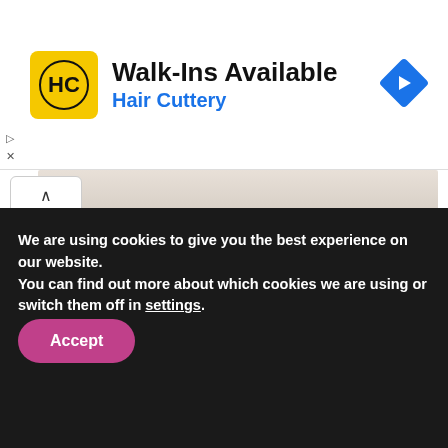[Figure (other): Hair Cuttery advertisement banner with HC logo, text 'Walk-Ins Available' and 'Hair Cuttery', and a blue navigation arrow icon]
[Figure (photo): Partial photo of a washbasin on a light surface, dark bowl visible at top]
Cenote Washbasin by Patricia Urquiola is Rough on Outside but Smooth Inside
By Atish Sharma — August 26, 2022
[Figure (photo): Partial bottom photo showing washbasin in beige/neutral tones]
We are using cookies to give you the best experience on our website.
You can find out more about which cookies we are using or switch them off in settings.
Accept